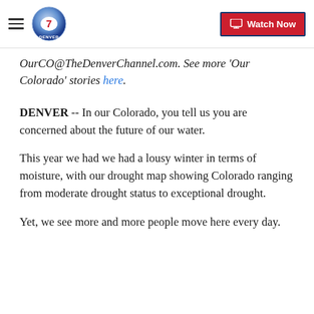Denver7 logo | Watch Now
OurCO@TheDenverChannel.com. See more 'Our Colorado' stories here.
DENVER -- In our Colorado, you tell us you are concerned about the future of our water.
This year we had we had a lousy winter in terms of moisture, with our drought map showing Colorado ranging from moderate drought status to exceptional drought.
Yet, we see more and more people move here every day.